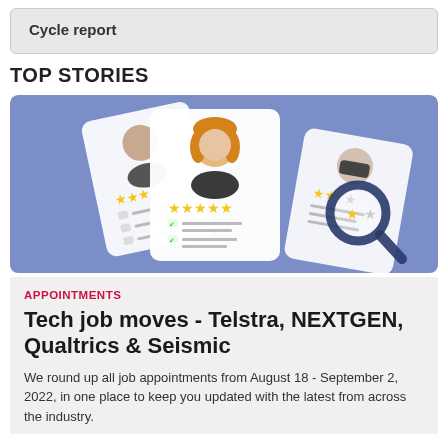Cycle report
TOP STORIES
[Figure (illustration): Three overlapping profile/review cards with user avatars and star ratings, with a magnifying glass, on a blue-purple background.]
APPOINTMENTS
Tech job moves - Telstra, NEXTGEN, Qualtrics & Seismic
We round up all job appointments from August 18 - September 2, 2022, in one place to keep you updated with the latest from across the industry.